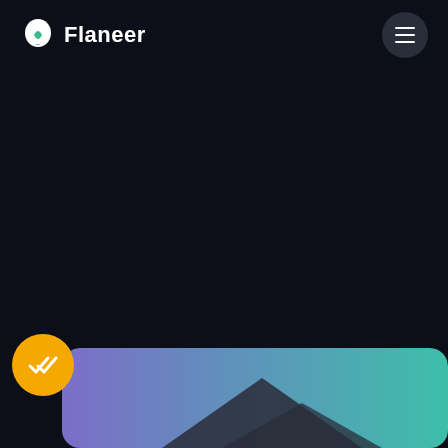[Figure (logo): Flaneer logo: white leaf/shield icon and white bold text 'Flaneer' on dark background]
[Figure (other): Hamburger menu button: dark circular button with three white horizontal lines]
[Figure (illustration): Bottom card with purple-to-teal gradient background, partially visible dark geometric mountain/roof shape. Yellow circular badge with white double-checkmark icon overlapping the left edge of the card.]